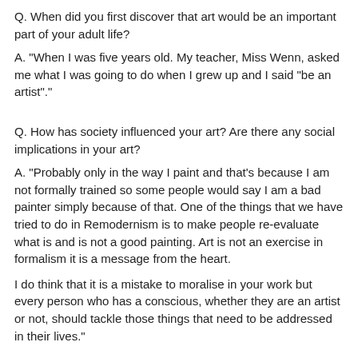Q. When did you first discover that art would be an important part of your adult life?
A. "When I was five years old. My teacher, Miss Wenn, asked me what I was going to do when I grew up and I said "be an artist"."
Q. How has society influenced your art? Are there any social implications in your art?
A. "Probably only in the way I paint and that's because I am not formally trained so some people would say I am a bad painter simply because of that. One of the things that we have tried to do in Remodernism is to make people re-evaluate what is and is not a good painting. Art is not an exercise in formalism it is a message from the heart.
I do think that it is a mistake to moralise in your work but every person who has a conscious, whether they are an artist or not, should tackle those things that need to be addressed in their lives."